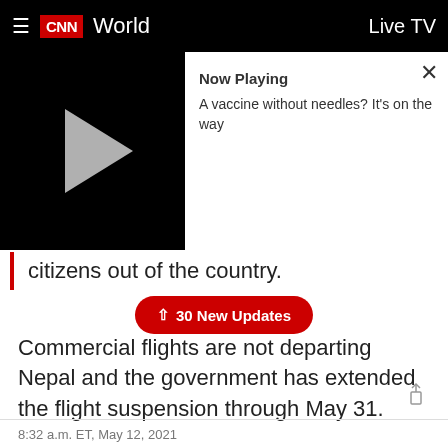CNN World — Live TV
[Figure (screenshot): CNN video player showing play button with 'Now Playing' panel: 'A vaccine without needles? It's on the way']
citizens out of the country.
Commercial flights are not departing Nepal and the government has extended the flight suspension through May 31.
The embassy said its services are closed during Kathmandu's lockdown, which is currently in effect until May 27.
8:32 a.m. ET, May 12, 2021